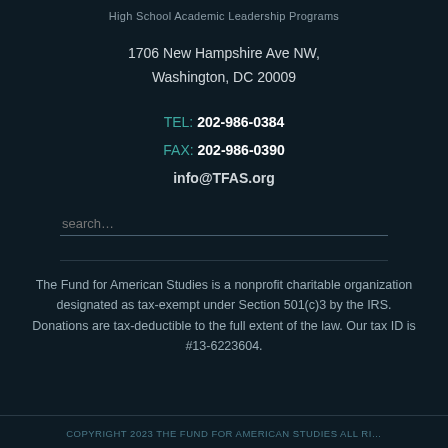High School Academic Leadership Programs
1706 New Hampshire Ave NW,
Washington, DC 20009
TEL: 202-986-0384
FAX: 202-986-0390
info@TFAS.org
search…
The Fund for American Studies is a nonprofit charitable organization designated as tax-exempt under Section 501(c)3 by the IRS. Donations are tax-deductible to the full extent of the law. Our tax ID is #13-6223604.
COPYRIGHT 2023 The FUND for AMERICAN STUDIES All Rights Reserved